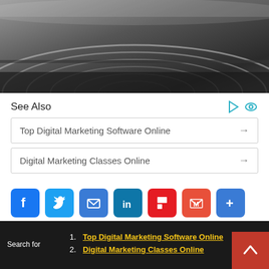[Figure (photo): Black and white photo of industrial paper rolls on a printing press machine, viewed from above/side angle]
See Also
Top Digital Marketing Software Online →
Digital Marketing Classes Online →
[Figure (infographic): Row of social media share buttons: Facebook, Twitter, Email, LinkedIn, Flipboard, Gmail, More (+)]
SAN DIEGO & DOHA, Qatar–(BUSINESS WIRE)–$INSG #5G–Vodafone Qatar is the first operator in the region to launch the next generation Inseego
Search for  1. Top Digital Marketing Software Online  2. Digital Marketing Classes Online